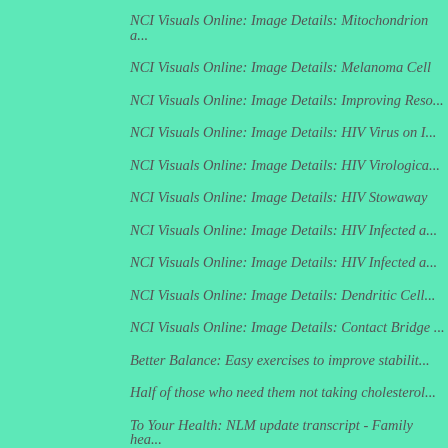NCI Visuals Online: Image Details: Mitochondrion a...
NCI Visuals Online: Image Details: Melanoma Cell
NCI Visuals Online: Image Details: Improving Reso...
NCI Visuals Online: Image Details: HIV Virus on I...
NCI Visuals Online: Image Details: HIV Virologica...
NCI Visuals Online: Image Details: HIV Stowaway
NCI Visuals Online: Image Details: HIV Infected a...
NCI Visuals Online: Image Details: HIV Infected a...
NCI Visuals Online: Image Details: Dendritic Cell...
NCI Visuals Online: Image Details: Contact Bridge ...
Better Balance: Easy exercises to improve stabilit...
Half of those who need them not taking cholesterol...
To Your Health: NLM update transcript - Family hea...
Human Genome Project: Twenty-five years of big bio...
To Your Health: NLM update transcript - Human geno...
LabTV: Curious About Drug Resistance of Hepatitis ...
Consumer Updates > Help Keep a Sick Child Safe: Le...